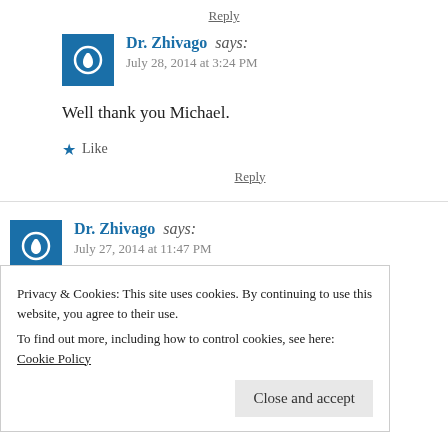Reply
Dr. Zhivago says:
July 28, 2014 at 3:24 PM

Well thank you Michael.

★ Like

Reply
Dr. Zhivago says:
July 27, 2014 at 11:47 PM
Privacy & Cookies: This site uses cookies. By continuing to use this website, you agree to their use.
To find out more, including how to control cookies, see here: Cookie Policy

Close and accept